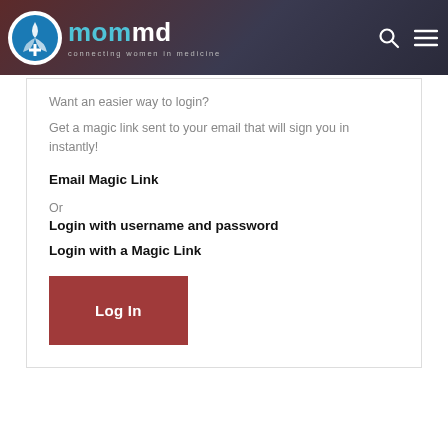[Figure (logo): mommd logo — circular icon with leaf/cross symbol, text 'mommd' in teal and white, tagline 'connecting women in medicine']
Want an easier way to login?
Get a magic link sent to your email that will sign you in instantly!
Email Magic Link
Or
Login with username and password
Login with a Magic Link
Log In